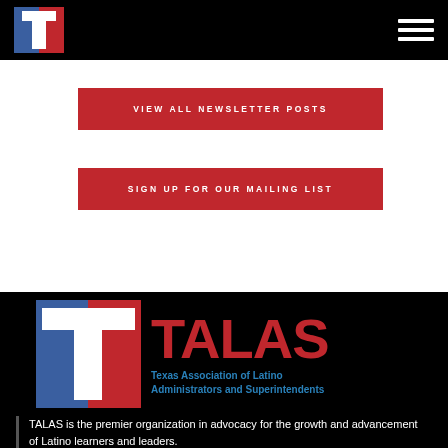TALAS navigation bar with logo and hamburger menu
VIEW ALL NEWSLETTER POSTS
SIGN UP FOR OUR MAILING LIST
[Figure (logo): TALAS logo - stylized T in red, white, blue with TALAS wordmark in red and subtitle 'Texas Association of Latino Administrators and Superintendents' in blue]
TALAS is the premier organization in advocacy for the growth and advancement of Latino learners and leaders.